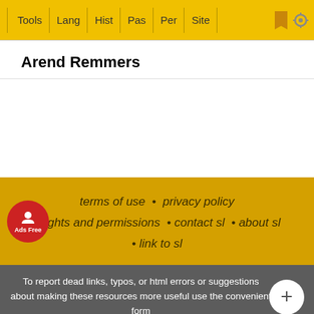Tools | Lang | Hist | Pas | Per | Site
Arend Remmers
terms of use • privacy policy • rights and permissions • contact sl • about sl • link to sl
To report dead links, typos, or html errors or suggestions about making these resources more useful use the convenient form
StudyLight © 2001-2022  Powered by LightServe IT Technology
[Figure (screenshot): Walgreens ad banner: Shop Vitamins at Walgreens - Walgreens Photo]